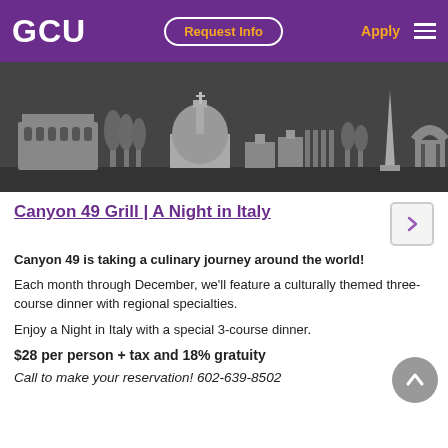GCU | Request Info | Apply
[Figure (illustration): Grayscale stylized skyline of Rome with Colosseum, dome, and obelisk silhouettes]
Canyon 49 Grill | A Night in Italy
Canyon 49 is taking a culinary journey around the world!
Each month through December, we'll feature a culturally themed three-course dinner with regional specialties.
Enjoy a Night in Italy with a special 3-course dinner.
$28 per person + tax and 18% gratuity
Call to make your reservation! 602-639-8502